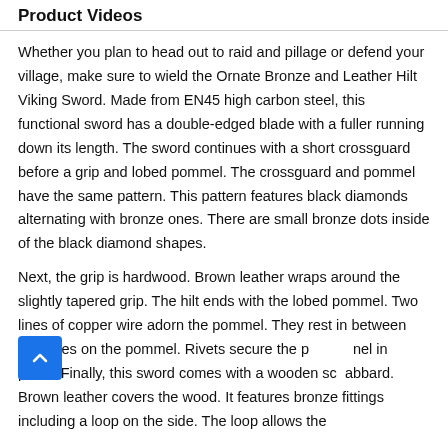Product Videos
Whether you plan to head out to raid and pillage or defend your village, make sure to wield the Ornate Bronze and Leather Hilt Viking Sword. Made from EN45 high carbon steel, this functional sword has a double-edged blade with a fuller running down its length. The sword continues with a short crossguard before a grip and lobed pommel. The crossguard and pommel have the same pattern. This pattern features black diamonds alternating with bronze ones. There are small bronze dots inside of the black diamond shapes.
Next, the grip is hardwood. Brown leather wraps around the slightly tapered grip. The hilt ends with the lobed pommel. Two lines of copper wire adorn the pommel. They rest in between the lobes on the pommel. Rivets secure the pommel in place. Finally, this sword comes with a wooden scabbard. Brown leather covers the wood. It features bronze fittings including a loop on the side. The loop allows the